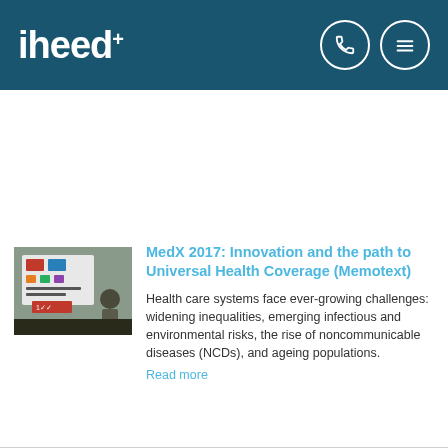iheed+
[Figure (photo): A presentation or conference scene with a screen showing logos and a person speaking.]
MedX 2017: Innovation and the path to Universal Health Coverage (Memotext)
Health care systems face ever-growing challenges: widening inequalities, emerging infectious and environmental risks, the rise of noncommunicable diseases (NCDs), and ageing populations.
Read more